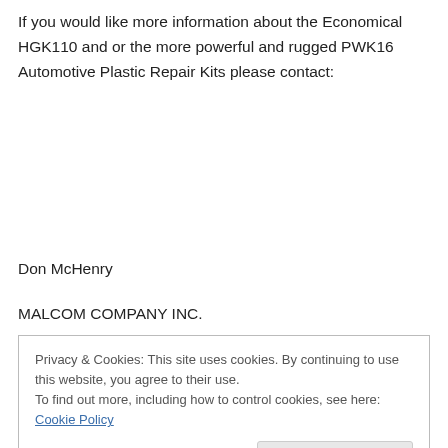If you would like more information about the Economical HGK110 and or the more powerful and rugged PWK16 Automotive Plastic Repair Kits please contact:
Don McHenry
MALCOM COMPANY INC.
Privacy & Cookies: This site uses cookies. By continuing to use this website, you agree to their use. To find out more, including how to control cookies, see here: Cookie Policy
Close and accept